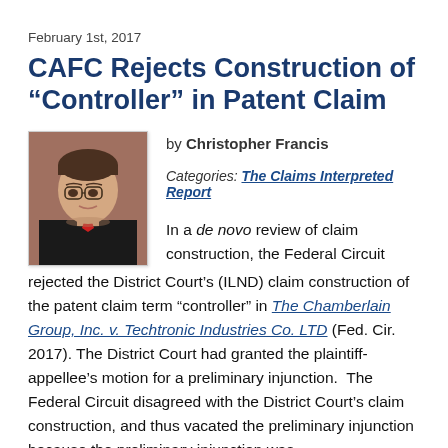February 1st, 2017
CAFC Rejects Construction of “Controller” in Patent Claim
by Christopher Francis
Categories: The Claims Interpreted Report
[Figure (photo): Headshot photo of Christopher Francis, a man in a dark suit with glasses and a red tie, against a brick wall background]
In a de novo review of claim construction, the Federal Circuit rejected the District Court’s (ILND) claim construction of the patent claim term “controller” in The Chamberlain Group, Inc. v. Techtronic Industries Co. LTD (Fed. Cir. 2017). The District Court had granted the plaintiff-appellee’s motion for a preliminary injunction. The Federal Circuit disagreed with the District Court’s claim construction, and thus vacated the preliminary injunction because the preliminary injunction was